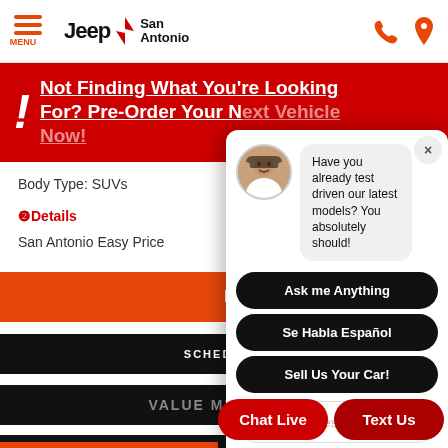MENU | Jeep San Antonio
Not Finding What You're Looking For? Pre-Order Your N...
Body Type: SUVs
Details
San Antonio Easy Price
[Figure (screenshot): Chat bot overlay with avatar photo of a woman, message bubble saying 'Have you already test driven our latest models? You absolutely should!', three black rounded buttons: 'Ask me Anything', 'Se Habla Español', 'Sell Us Your Car!', and a text input field with placeholder 'Enter your message']
VALUE MY TRADE
Chat Live
Text Us